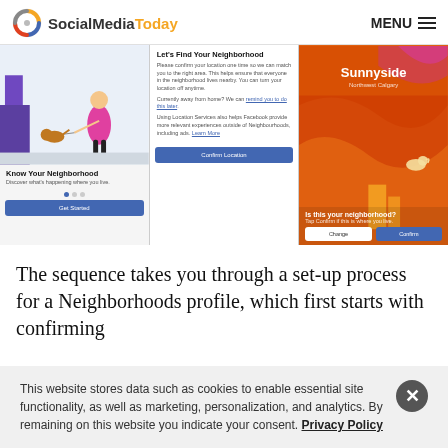SocialMediaToday MENU
[Figure (screenshot): Three-panel screenshot of Facebook Neighborhoods feature setup flow: Panel 1 shows 'Know Your Neighborhood' onboarding with illustration; Panel 2 shows 'Let's Find Your Neighborhood' location confirmation dialog; Panel 3 shows 'Sunnyside, Northwest Calgary' neighborhood confirmation screen with Change and Confirm buttons.]
The sequence takes you through a set-up process for a Neighborhoods profile, which first starts with confirming
This website stores data such as cookies to enable essential site functionality, as well as marketing, personalization, and analytics. By remaining on this website you indicate your consent. Privacy Policy